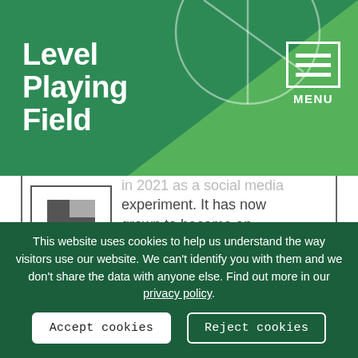Level Playing Field
in 2021 as a social media experiment. It has now grown to become an annual part of the football calendar, backed by Premier League and Football League clubs, MPs, celebrities, media
This website uses cookies to help us understand the way visitors use our website. We can't identify you with them and we don't share the data with anyone else. Find out more in our privacy policy.